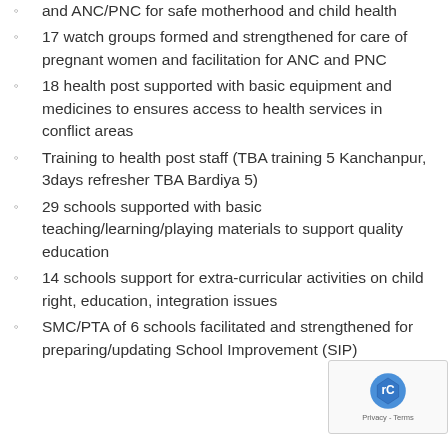and ANC/PNC for safe motherhood and child health
17 watch groups formed and strengthened for care of pregnant women and facilitation for ANC and PNC
18 health post supported with basic equipment and medicines to ensures access to health services in conflict areas
Training to health post staff (TBA training 5 Kanchanpur, 3days refresher TBA Bardiya 5)
29 schools supported with basic teaching/learning/playing materials to support quality education
14 schools support for extra-curricular activities on child right, education, integration issues
SMC/PTA of 6 schools facilitated and strengthened for preparing/updating School Improvement (SIP)